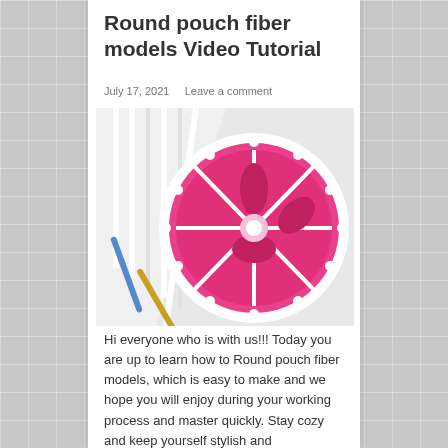Round pouch fiber models Video Tutorial
July 17, 2021    Leave a comment
[Figure (photo): A crocheted round pouch/coin purse with a hot pink and white design resembling a citrus fruit slice, with crochet hooks visible beside it.]
Hi everyone who is with us!!! Today you are up to learn how to Round pouch fiber models, which is easy to make and we hope you will enjoy during your working process and master quickly. Stay cozy and keep yourself stylish and